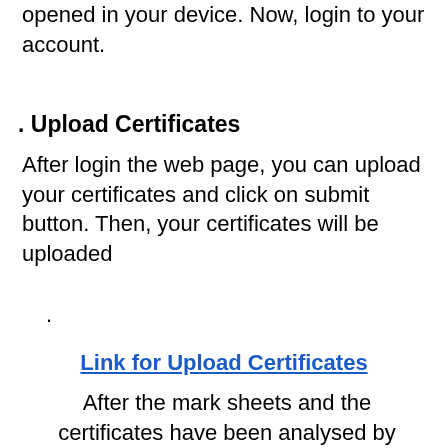opened in your device. Now, login to your account.
Upload Certificates
After login the web page, you can upload your certificates and click on submit button. Then, your certificates will be uploaded
.
Link for Upload Certificates
After the mark sheets and the certificates have been analysed by ISRO, the final list